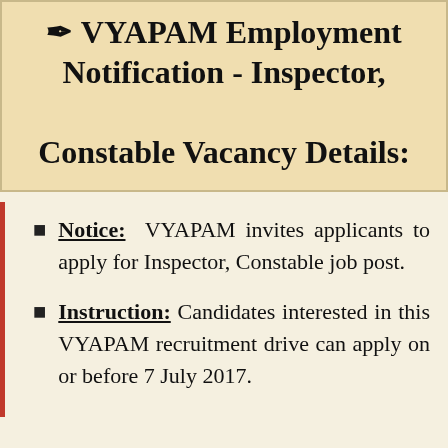VYAPAM Employment Notification - Inspector, Constable Vacancy Details:
Notice: VYAPAM invites applicants to apply for Inspector, Constable job post.
Instruction: Candidates interested in this VYAPAM recruitment drive can apply on or before 7 July 2017.